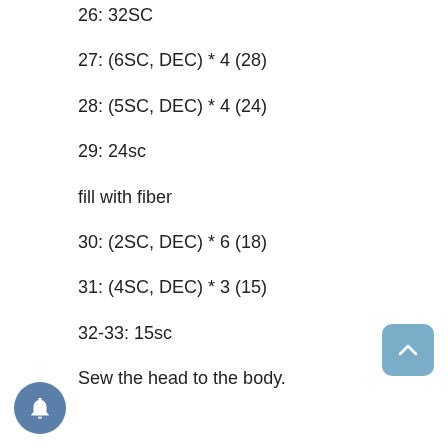26: 32SC
27: (6SC, DEC) * 4 (28)
28: (5SC, DEC) * 4 (24)
29: 24sc
fill with fiber
30: (2SC, DEC) * 6 (18)
31: (4SC, DEC) * 3 (15)
32-33: 15sc
Sew the head to the body.